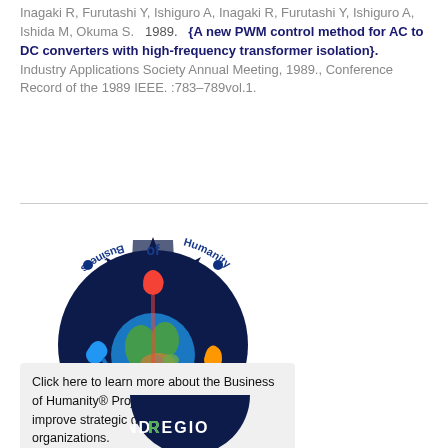Inagaki R, Furutashi Y, Ishiguro A, Inagaki R, Furutashi Y, Ishiguro A, Ishida M, Okuma S. 1989. {A new PWM control method for AC to DC converters with high-frequency transformer isolation}. Industry Applications Society Annual Meeting, 1989., Conference Record of the 1989 IEEE. :783–789vol.1.
[Figure (logo): Business of Humanity circular logo with colorful figures holding hands around a globe, on a dark navy spiky sunburst background, with 'Business of Humanity' text around the circle and a registered trademark symbol]
Click here to learn more about the Business of Humanity® Project which seeks to improve strategic decision making in organizations.
[Figure (logo): Partial view of a circular logo with dark navy background and 'REGIO' text visible at the bottom of the page]